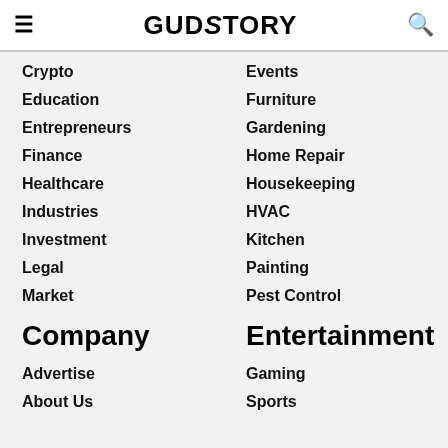GUDSTORY
Crypto
Events
Education
Furniture
Entrepreneurs
Gardening
Finance
Home Repair
Healthcare
Housekeeping
Industries
HVAC
Investment
Kitchen
Legal
Painting
Market
Pest Control
Company
Entertainment
Advertise
Gaming
About Us
Sports